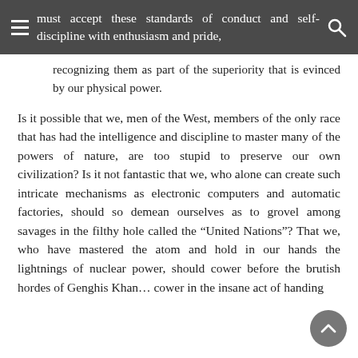must accept these standards of conduct and self-discipline with enthusiasm and pride,
recognizing them as part of the superiority that is evinced by our physical power.
Is it possible that we, men of the West, members of the only race that has had the intelligence and discipline to master many of the powers of nature, are too stupid to preserve our own civilization? Is it not fantastic that we, who alone can create such intricate mechanisms as electronic computers and automatic factories, should so demean ourselves as to grovel among savages in the filthy hole called the “United Nations”? That we, who have mastered the atom and hold in our hands the lightnings of nuclear power, should cower before the brutish hordes of Genghis Khan… cower in the insane act of handing